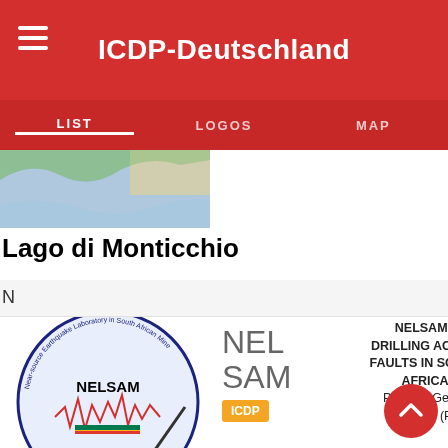ICDP-Deutschland
LIST  LOGOS  MAP
[Figure (screenshot): Partial map image showing coastal geography]
ICDP
(PI)
Lago di Monticchio
ADDITIONAL INFORMATION
N
[Figure (logo): NELSAM circular logo - Near-source Earthquake Laboratory in South African Mine]
NEL SAM
ICDP
NELSAM - DRILLING ACTIVE FAULTS IN SOUTH AFRICA
Prof. Dr. Georg Erzinger (PI)